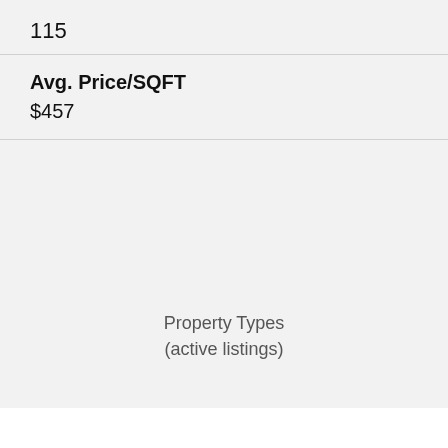115
Avg. Price/SQFT
$457
Property Types (active listings)